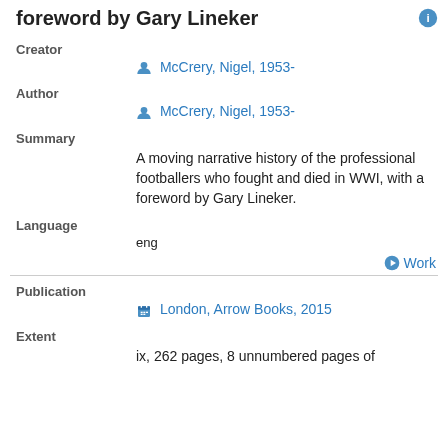foreword by Gary Lineker
Creator
McCrery, Nigel, 1953-
Author
McCrery, Nigel, 1953-
Summary
A moving narrative history of the professional footballers who fought and died in WWI, with a foreword by Gary Lineker.
Language
eng
Work
Publication
London, Arrow Books, 2015
Extent
ix, 262 pages, 8 unnumbered pages of